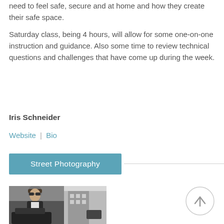need to feel safe, secure and at home and how they create their safe space.
Saturday class, being 4 hours, will allow for some one-on-one instruction and guidance. Also some time to review technical questions and challenges that have come up during the week.
Iris Schneider
Website | Bio
Street Photography
[Figure (photo): Street photograph showing a person in sunglasses and leather jacket, with a city street scene in the background.]